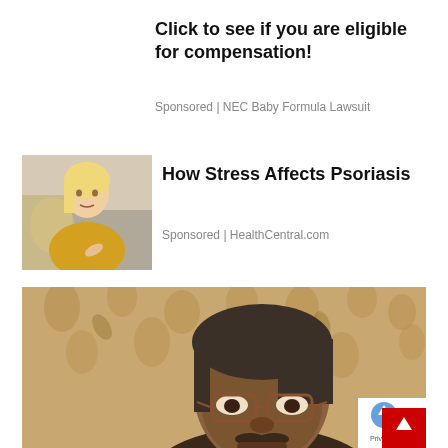Click to see if you are eligible for compensation!
Sponsored | NEC Baby Formula Lawsuit
[Figure (photo): Woman in yellow sweater examining her arm/wrist, seated on couch]
How Stress Affects Psoriasis
Sponsored | HealthCentral.com
[Figure (photo): Middle-aged South Asian man with glasses in front of floral curtain background]